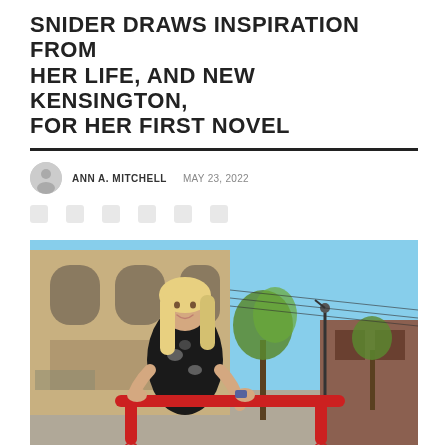SNIDER DRAWS INSPIRATION FROM HER LIFE, AND NEW KENSINGTON, FOR HER FIRST NOVEL
ANN A. MITCHELL  MAY 23, 2022
[Figure (photo): A woman with long blonde hair wearing a black and white patterned dress leans on a red metal bench or bike rack on a sidewalk in downtown New Kensington. Behind her is an ornate stone building with arched windows, and to the right are trees, power lines, a street lamp, and brick buildings under a blue sky.]